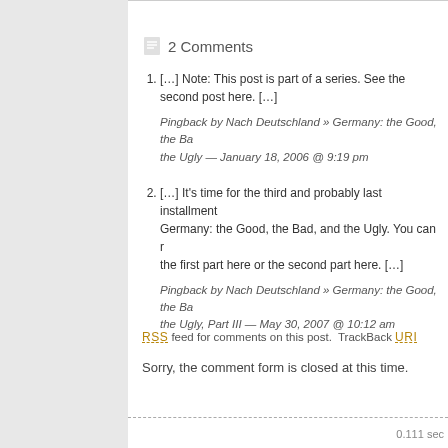2 Comments
[…] Note: This post is part of a series. See the second post here. […]
Pingback by Nach Deutschland » Germany: the Good, the Bad, and the Ugly — January 18, 2006 @ 9:19 pm
[…] It's time for the third and probably last installment of Germany: the Good, the Bad, and the Ugly. You can read the first part here or the second part here. […]
Pingback by Nach Deutschland » Germany: the Good, the Bad, and the Ugly, Part III — May 30, 2007 @ 10:12 am
RSS feed for comments on this post.  TrackBack URI
Sorry, the comment form is closed at this time.
0.111 sec